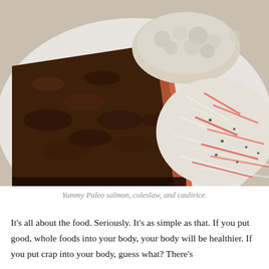[Figure (photo): A close-up photo of a plate of Paleo food: a piece of salmon with a dark pecan/nut crust on the left, a mound of coleslaw with shredded carrots and cabbage on the right, and caulirice (riced cauliflower) in the upper center background.]
Yummy Paleo salmon, coleslaw, and caulirice.
It's all about the food. Seriously. It's as simple as that. If you put good, whole foods into your body, your body will be healthier. If you put crap into your body, guess what? There's